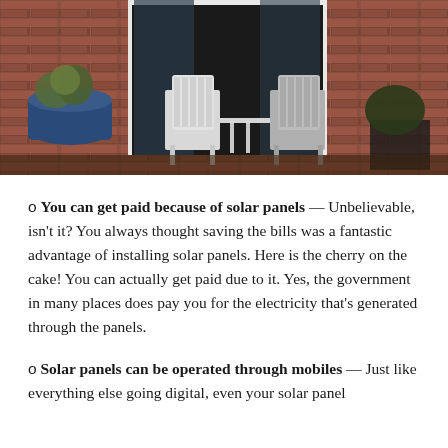[Figure (photo): Photograph of a brick house entrance with two white Adirondack chairs, a patio table, and potted plants with blue planters, viewed from outside through large windows]
You can get paid because of solar panels — Unbelievable, isn't it? You always thought saving the bills was a fantastic advantage of installing solar panels. Here is the cherry on the cake! You can actually get paid due to it. Yes, the government in many places does pay you for the electricity that's generated through the panels.
Solar panels can be operated through mobiles — Just like everything else going digital, even your solar panel